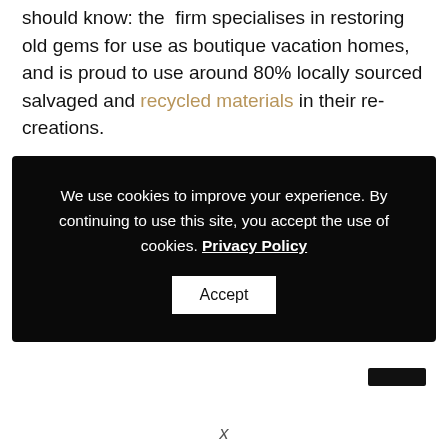should know: the firm specialises in restoring old gems for use as boutique vacation homes, and is proud to use around 80% locally sourced salvaged and recycled materials in their re-creations.
[Figure (screenshot): Cookie consent banner with black background. Text: 'We use cookies to improve your experience. By continuing to use this site, you accept the use of cookies. Privacy Policy' with an Accept button.]
[Figure (other): Small dark rectangle in lower right area of page]